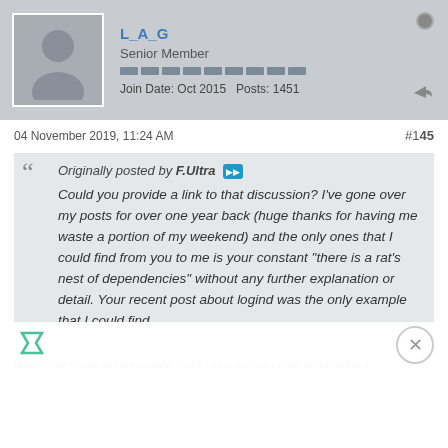L_A_G
Senior Member
Join Date: Oct 2015  Posts: 1451
04 November 2019, 11:24 AM
#145
Originally posted by F.Ultra
Could you provide a link to that discussion? I've gone over my posts for over one year back (huge thanks for having me waste a portion of my weekend) and the only ones that I could find from you to me is your constant "there is a rat's nest of dependencies" without any further explanation or detail. Your recent post about logind was the only example that I could find.
Well you have an example right now so you can stop acting